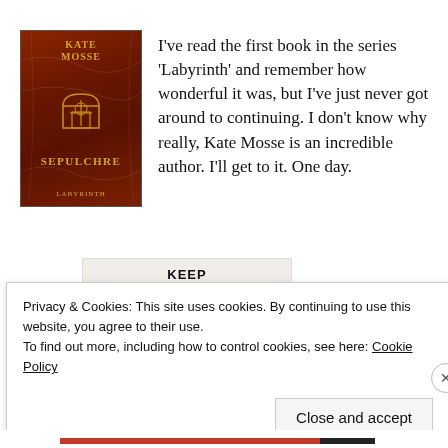[Figure (illustration): Book cover of 'Sepulchre' by Kate Mosse — dark reddish-brown textured background with gold author name, decorative arch emblem, and title text]
I've read the first book in the series 'Labyrinth' and remember how wonderful it was, but I've just never got around to continuing. I don't know why really, Kate Mosse is an incredible author. I'll get to it. One day.
KEEP
Privacy & Cookies: This site uses cookies. By continuing to use this website, you agree to their use.
To find out more, including how to control cookies, see here: Cookie Policy
Close and accept